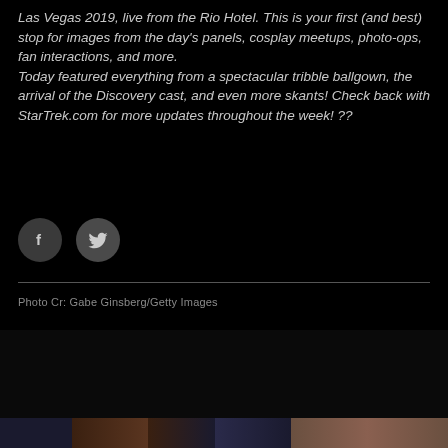Las Vegas 2019, live from the Rio Hotel. This is your first (and best) stop for images from the day's panels, cosplay meetups, photo-ops, fan interactions, and more. Today featured everything from a spectacular tribble ballgown, the arrival of the Discovery cast, and even more skants! Check back with StarTrek.com for more updates throughout the week! ??
[Figure (other): Two social media share buttons: a Facebook icon (f) in a dark circle and a Twitter bird icon in a dark circle]
Photo Cr: Gabe Ginsberg/Getty Images
[Figure (photo): Dark band / black area representing a photo section, followed by a partial photo strip at the bottom showing people in Star Trek costumes]